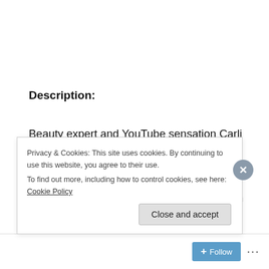Description:
Beauty expert and YouTube sensation Carli Bybel designed this versatile 14 Color Eyeshadow and Highlighter Palette to dial up the drama and add excitement to your look. Carli's taste for chic refinement and modern elegance inspired her to select a collection for the most beloved and...
Privacy & Cookies: This site uses cookies. By continuing to use this website, you agree to their use.
To find out more, including how to control cookies, see here: Cookie Policy